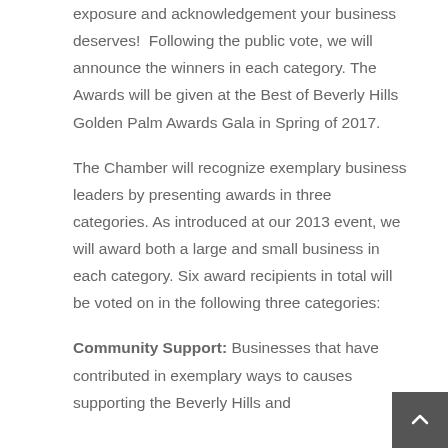exposure and acknowledgement your business deserves!  Following the public vote, we will announce the winners in each category. The Awards will be given at the Best of Beverly Hills Golden Palm Awards Gala in Spring of 2017.
The Chamber will recognize exemplary business leaders by presenting awards in three categories. As introduced at our 2013 event, we will award both a large and small business in each category. Six award recipients in total will be voted on in the following three categories:
Community Support: Businesses that have contributed in exemplary ways to causes supporting the Beverly Hills and